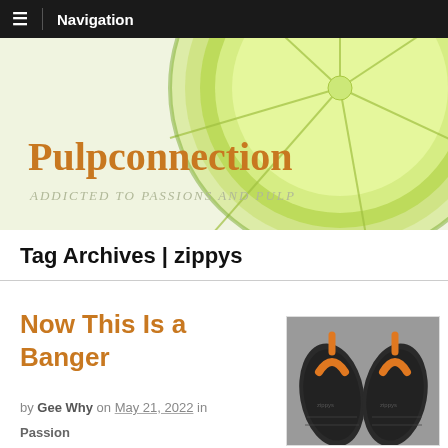Navigation
[Figure (illustration): Banner image with lime/citrus slice in the background, website logo Pulpconnection and tagline Addicted to Passions and Pulp]
Pulpconnection
Addicted to Passions and Pulp
Tag Archives | zippys
Now This Is a Banger
by Gee Why on May 21, 2022 in
Passion
[Figure (photo): Photo of orange flip flop sandals (Zippy's brand) from bottom view on concrete surface]